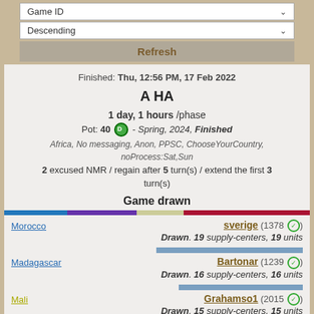Game ID (dropdown)
Descending (dropdown)
Refresh
Finished: Thu, 12:56 PM, 17 Feb 2022
A HA
1 day, 1 hours /phase
Pot: 40 D - Spring, 2024, Finished
Africa, No messaging, Anon, PPSC, ChooseYourCountry, noProcess:Sat,Sun
2 excused NMR / regain after 5 turn(s) / extend the first 3 turn(s)
Game drawn
Morocco | sverige (1378) Drawn. 19 supply-centers, 19 units
Madagascar | Bartonar (1239) Drawn. 16 supply-centers, 16 units
Mali | Grahamso1 (2015) Drawn. 15 supply-centers, 15 units
DRC | Victorius (1990) Drawn. 13 supply-centers, 13 units